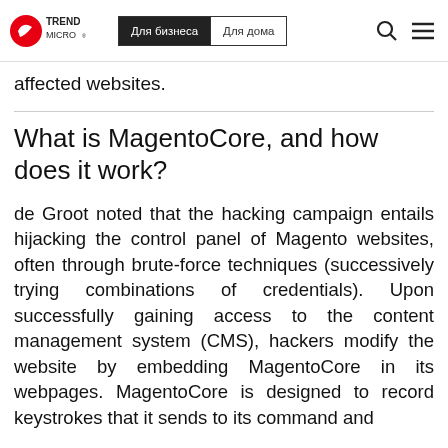Trend Micro | Для бизнеса | Для дома
affected websites.
What is MagentoCore, and how does it work?
de Groot noted that the hacking campaign entails hijacking the control panel of Magento websites, often through brute-force techniques (successively trying combinations of credentials). Upon successfully gaining access to the content management system (CMS), hackers modify the website by embedding MagentoCore in its webpages. MagentoCore is designed to record keystrokes that it sends to its command and